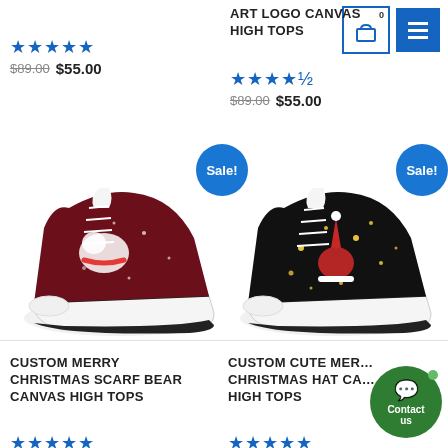[Figure (screenshot): E-commerce product listing page showing custom Christmas-themed high-top sneakers with sale badges, star ratings, and prices.]
★★★★★
$89.00 $55.00
ART LOGO CANVAS HIGH TOPS
★★★★★
$89.00 $55.00
[Figure (photo): Sale! badge (blue circle) above left product]
[Figure (photo): Sale! badge (blue circle) above right product]
[Figure (photo): Custom Merry Christmas Scarf Bear Canvas High Tops - dark red/maroon high-top sneaker with polar bear and scarf design]
[Figure (photo): Custom Cute Merry Christmas Hat Canvas High Tops - black high-top sneaker with Christmas hat design and stars]
CUSTOM MERRY CHRISTMAS SCARF BEAR CANVAS HIGH TOPS
CUSTOM CUTE MERRY CHRISTMAS HAT CA... HIGH TOPS
★★★★★
★★★★★